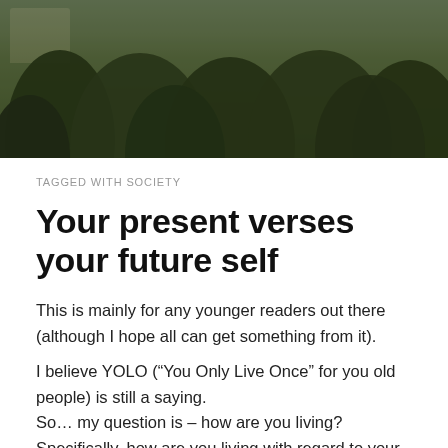[Figure (photo): Outdoor photograph banner showing trees and foliage with a building visible in the background, taken in natural daylight.]
TAGGED WITH SOCIETY
Your present verses your future self
This is mainly for any younger readers out there (although I hope all can get something from it).
I believe YOLO (“You Only Live Once” for you old people) is still a saying.
So… my question is – how are you living? Specifically, how are you living with regard to your future self.
Since YOLO, are you living such that when you are on